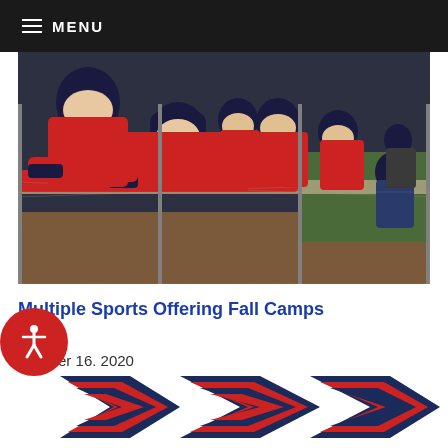≡ MENU
[Figure (photo): Baseball players in red uniforms leaning over a chain-link dugout fence watching a game]
Multiple Sports Offering Fall Camps
October 16, 2020
[Figure (logo): University athletic logo with red and navy blue chevron/arrow design]